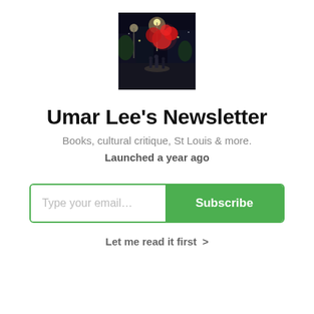[Figure (photo): Night scene photo showing a street or plaza with colorful lights, red decorations or balloons, and people, taken at night]
Umar Lee’s Newsletter
Books, cultural critique, St Louis & more.
Launched a year ago
Type your email...  Subscribe
Let me read it first  >